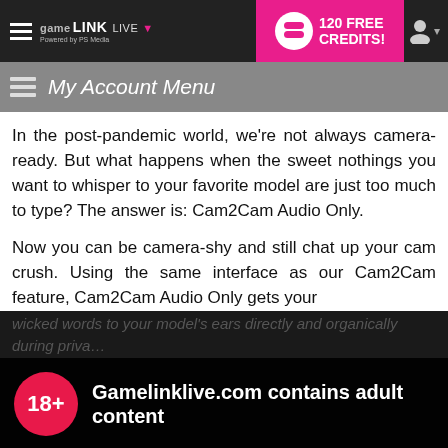GameLink LIVE — 120 FREE CREDITS! — My Account Menu
In the post-pandemic world, we're not always camera-ready. But what happens when the sweet nothings you want to whisper to your favorite model are just too much to type? The answer is: Cam2Cam Audio Only.
Now you can be camera-shy and still chat up your cam crush. Using the same interface as our Cam2Cam feature, Cam2Cam Audio Only gets your wicked words to your model's ears directly and organically during private…
Gamelinklive.com contains adult content
By using the site, you acknowledge you have read our Privacy Policy, and agree to our Terms and Conditions.
We use cookies to optimize your experience, analyze traffic, and deliver more personalized service. To learn more, please see our Privacy Policy.
I AGREE